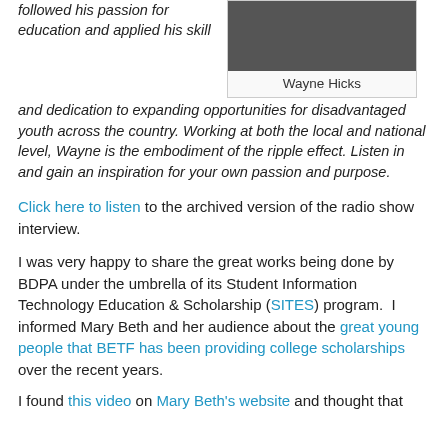followed his passion for education and applied his skill and dedication to expanding opportunities for disadvantaged youth across the country. Working at both the local and national level, Wayne is the embodiment of the ripple effect. Listen in and gain an inspiration for your own passion and purpose.
[Figure (photo): Photo of Wayne Hicks]
Wayne Hicks
Click here to listen to the archived version of the radio show interview.
I was very happy to share the great works being done by BDPA under the umbrella of its Student Information Technology Education & Scholarship (SITES) program.  I informed Mary Beth and her audience about the great young people that BETF has been providing college scholarships over the recent years.
I found this video on Mary Beth's website and thought that